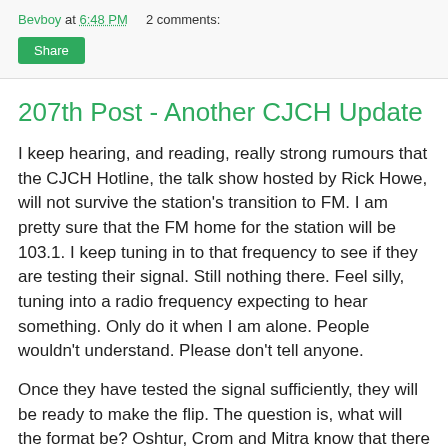Bevboy at 6:48 PM   2 comments:
Share
207th Post - Another CJCH Update
I keep hearing, and reading, really strong rumours that the CJCH Hotline, the talk show hosted by Rick Howe, will not survive the station's transition to FM. I am pretty sure that the FM home for the station will be 103.1. I keep tuning in to that frequency to see if they are testing their signal. Still nothing there. Feel silly, tuning into a radio frequency expecting to hear something. Only do it when I am alone. People wouldn't understand. Please don't tell anyone.
Once they have tested the signal sufficiently, they will be ready to make the flip. The question is, what will the format be? Oshtur, Crom and Mitra know that there are already stations that play what we would call Oldies, music recorded when I was but a pup. Kool FM plays such music, and I am